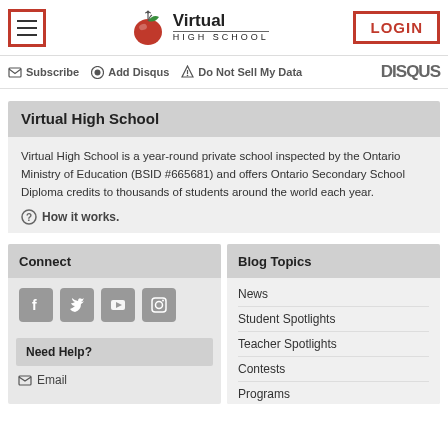Virtual High School — LOGIN
Subscribe  Add Disqus  Do Not Sell My Data  DISQUS
Virtual High School
Virtual High School is a year-round private school inspected by the Ontario Ministry of Education (BSID #665681) and offers Ontario Secondary School Diploma credits to thousands of students around the world each year.
How it works.
Connect
[Figure (illustration): Social media icons: Facebook, Twitter, YouTube, Instagram]
Need Help?
Email
Blog Topics
News
Student Spotlights
Teacher Spotlights
Contests
Programs